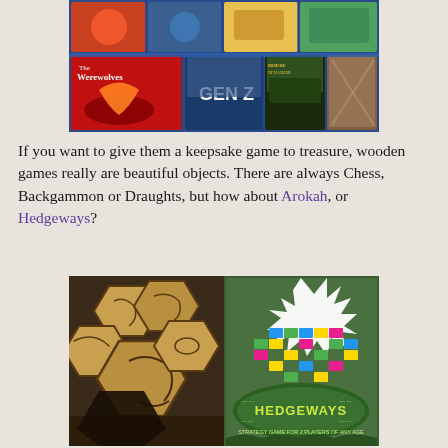[Figure (photo): Collage of board game box covers including Werewolves, Gen Z, House of Danger, and other games arranged in a grid]
If you want to give them a keepsake game to treasure, wooden games really are beautiful objects. There are always Chess, Backgammon or Draughts, but how about Arokah, or Hedgeways?
[Figure (photo): Two photos side by side: left shows wooden laser-cut hexagonal game tiles with engraved symbols, right shows the Hedgeways board game box cover with colorful interlocking pieces and text 'Strategy game for 2 players of any age']